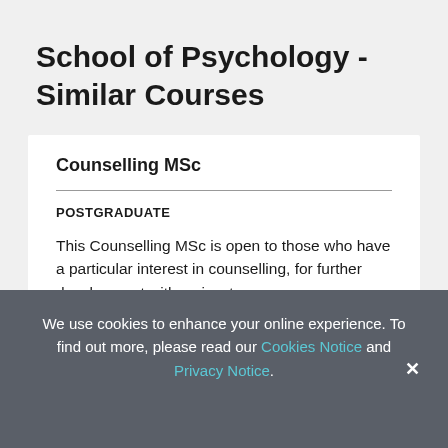School of Psychology - Similar Courses
Counselling MSc
POSTGRADUATE
This Counselling MSc is open to those who have a particular interest in counselling, for further development with a view to
We use cookies to enhance your online experience. To find out more, please read our Cookies Notice and Privacy Notice.